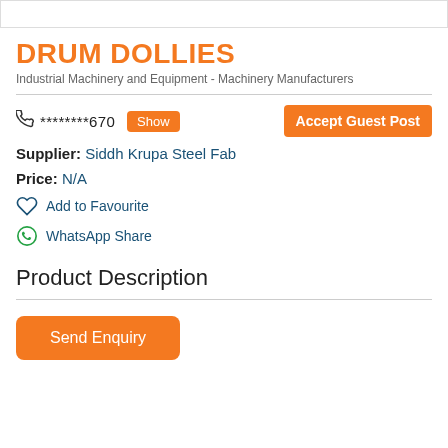DRUM DOLLIES
Industrial Machinery and Equipment - Machinery Manufacturers
********670  Show  Accept Guest Post
Supplier: Siddh Krupa Steel Fab
Price: N/A
Add to Favourite
WhatsApp Share
Product Description
Send Enquiry